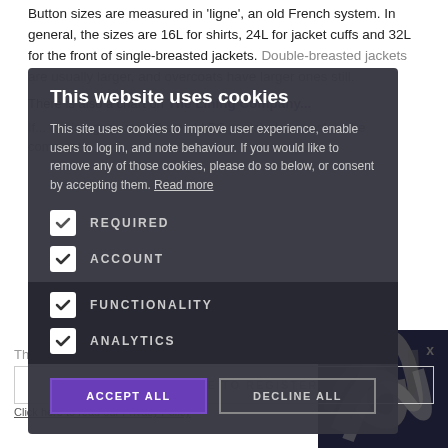Button sizes are measured in 'ligne', an old French system. In general, the sizes are 16L for shirts, 24L for jacket cuffs and 32L for the front of single-breasted jackets. Double-breasted jackets are usually larger, and overcoats have larger ones still.
There is also a chart on The Lining Company...
If... the imagery used (from old PS posts) please ask in the comments:
This website uses cookies
This site uses cookies to improve user experience, enable users to log in, and note behaviour. If you would like to remove any of those cookies, please do so below, or consent by accepting them. Read more
REQUIRED
ACCOUNT
FUNCTIONALITY
ANALYTICS
ACCEPT ALL
DECLINE ALL
The Permanent Style Newsletter
CLICK HERE TO REGISTER
Click here to read our Privacy Policy